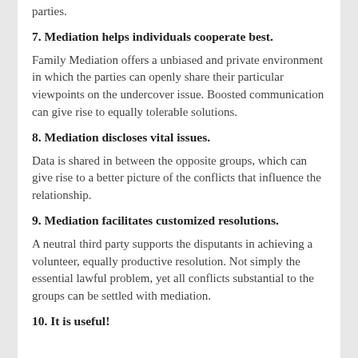parties.
7. Mediation helps individuals cooperate best.
Family Mediation offers a unbiased and private environment in which the parties can openly share their particular viewpoints on the undercover issue. Boosted communication can give rise to equally tolerable solutions.
8. Mediation discloses vital issues.
Data is shared in between the opposite groups, which can give rise to a better picture of the conflicts that influence the relationship.
9. Mediation facilitates customized resolutions.
A neutral third party supports the disputants in achieving a volunteer, equally productive resolution. Not simply the essential lawful problem, yet all conflicts substantial to the groups can be settled with mediation.
10. It is useful!